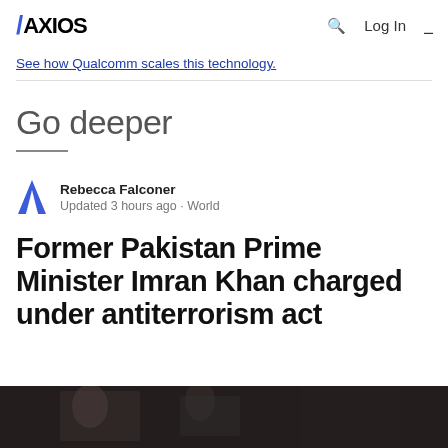AXIOS  Q  Log In  ≡
See how Qualcomm scales this technology.
Go deeper
Rebecca Falconer
Updated 3 hours ago · World
Former Pakistan Prime Minister Imran Khan charged under antiterrorism act
[Figure (photo): Partial photo visible at bottom of page, dark tones showing crowd or outdoor scene]